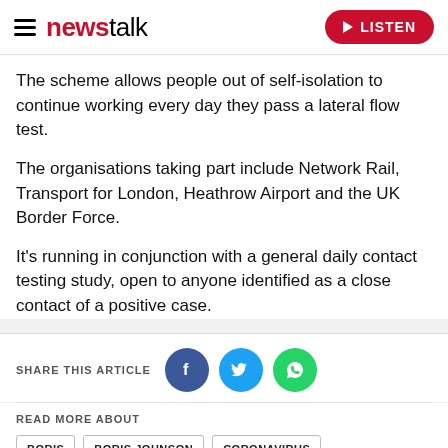newstalk | LISTEN
The scheme allows people out of self-isolation to continue working every day they pass a lateral flow test.
The organisations taking part include Network Rail, Transport for London, Heathrow Airport and the UK Border Force.
It's running in conjunction with a general daily contact testing study, open to anyone identified as a close contact of a positive case.
SHARE THIS ARTICLE
READ MORE ABOUT
BORIS
BORIS JOHNSON
CORONAVIRUS
COVID
COVID-19
RISHI SUNAK
TORIES